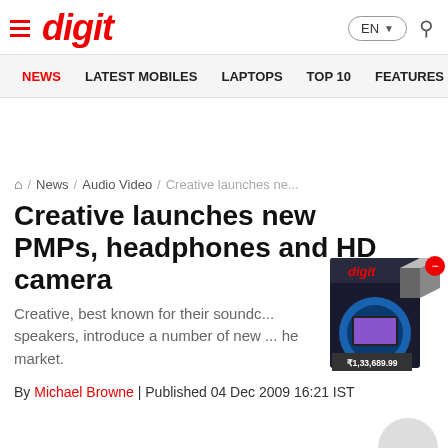digit
NEWS / LATEST MOBILES / LAPTOPS / TOP 10 / FEATURES / REVI
/ News / Audio Video / Creative launches ne...
Creative launches new PMPs, headphones and HD camera
[Figure (photo): Digit magazine product box showing a laptop screen with price tag ₹1,33,689.99]
Creative, best known for their soundc... speakers, introduce a number of new ... he market.
By Michael Browne | Published 04 Dec 2009 16:21 IST